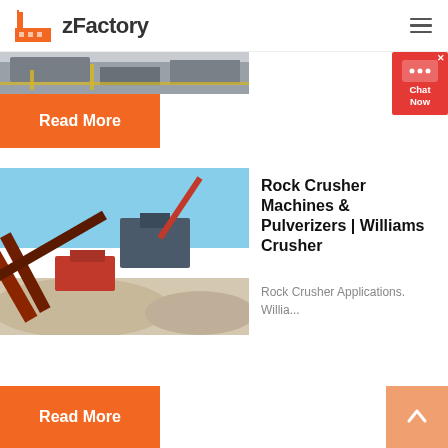zFactory
[Figure (photo): Industrial factory or conveyor belt machinery, partially visible at top of page]
Read More
[Figure (photo): Rock crusher machines at an outdoor quarry site, showing conveyor belts and crushed stone piles]
Rock Crusher Machines & Pulverizers | Williams Crusher
Rock Crusher Applications. Willia...
Read More